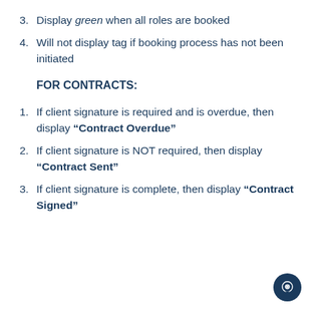3. Display green when all roles are booked
4. Will not display tag if booking process has not been initiated
FOR CONTRACTS:
1. If client signature is required and is overdue, then display “Contract Overdue”
2. If client signature is NOT required, then display “Contract Sent”
3. If client signature is complete, then display “Contract Signed”